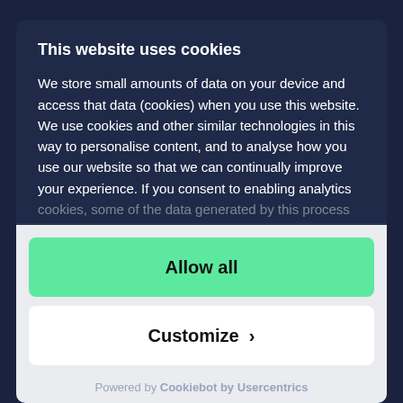This website uses cookies
We store small amounts of data on your device and access that data (cookies) when you use this website. We use cookies and other similar technologies in this way to personalise content, and to analyse how you use our website so that we can continually improve your experience. If you consent to enabling analytics cookies, some of the data generated by this process will be shared with our providers so that we can use their
Allow all
Customize >
Powered by Cookiebot by Usercentrics